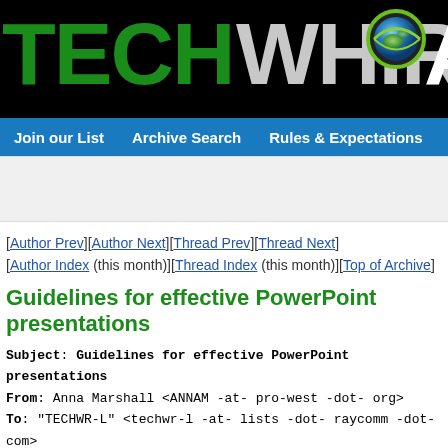[Figure (logo): TECHWHIRL Archives logo on black background with green TECH text, grey WHIRL text, globe graphic, and white Ar text]
Join our List | Archive Search | Rules & Expectations | FAQs | Ab
[Author Prev][Author Next][Thread Prev][Thread Next]
[Author Index (this month)][Thread Index (this month)][Top of Archive]
Guidelines for effective PowerPoint presentations
| Subject: | Guidelines for effective PowerPoint presentations |
| From: | Anna Marshall <ANNAM -at- pro-west -dot- org> |
| To: | "TECHWR-L" <techwr-l -at- lists -dot- raycomm -dot- com> |
| Date: | Tue, 5 Jun 2001 11:34:02 -0700 |
I'm looking for (1) guidelines for developing effective PowerPoint presentations and/or (2) examples of effective PowerPoint presentations. I'm also interested in getting opinions about using PowerPoint to make handouts. I'm currently drafting some guidelines for presenters in our company.